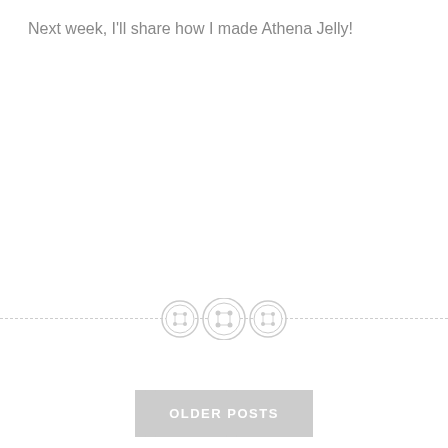Next week, I'll share how I made Athena Jelly!
[Figure (illustration): Decorative divider with three button icons on a dashed horizontal line]
OLDER POSTS